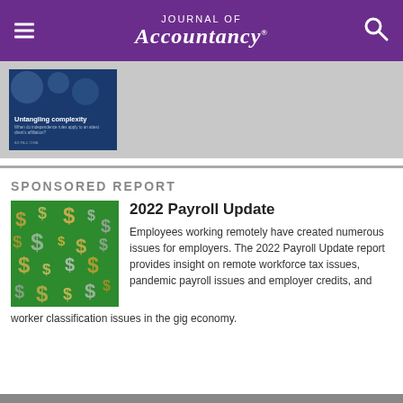Journal of Accountancy®
[Figure (illustration): Magazine cover with title 'Untangling complexity' on dark blue background, AICPA & CIMA logo]
SPONSORED REPORT
2022 Payroll Update
[Figure (illustration): Green background covered with dollar signs ($) in various colors — gold, silver, white — arranged randomly]
Employees working remotely have created numerous issues for employers. The 2022 Payroll Update report provides insight on remote workforce tax issues, pandemic payroll issues and employer credits, and worker classification issues in the gig economy.